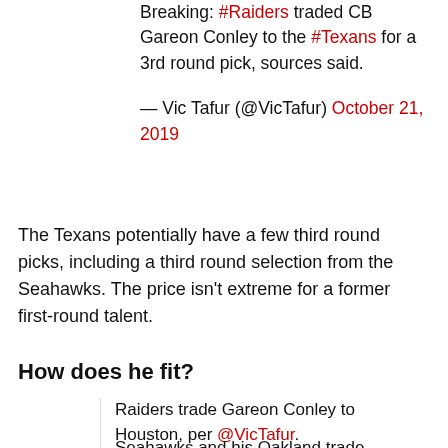Breaking: #Raiders traded CB Gareon Conley to the #Texans for a 3rd round pick, sources said.
— Vic Tafur (@VicTafur) October 21, 2019
The Texans potentially have a few third round picks, including a third round selection from the Seahawks. The price isn't extreme for a former first-round talent.
How does he fit?
Raiders trade Gareon Conley to Houston, per @VicTafur.
Seahawks...